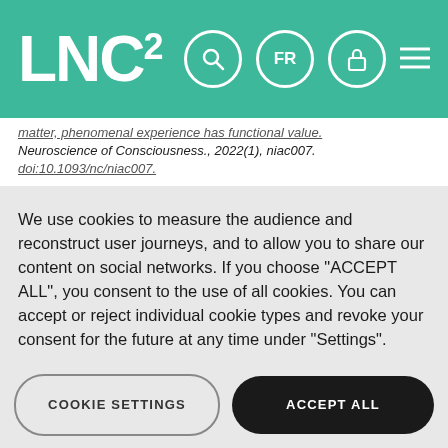LNC²
matter, phenomenal experience has functional value. Neuroscience of Consciousness., 2022(1), niac007. doi:10.1093/nc/niac007.
We use cookies to measure the audience and reconstruct user journeys, and to allow you to share our content on social networks. If you choose "ACCEPT ALL", you consent to the use of all cookies. You can accept or reject individual cookie types and revoke your consent for the future at any time under "Settings".
Privacy policy
Cookie Policy
COOKIE SETTINGS
ACCEPT ALL